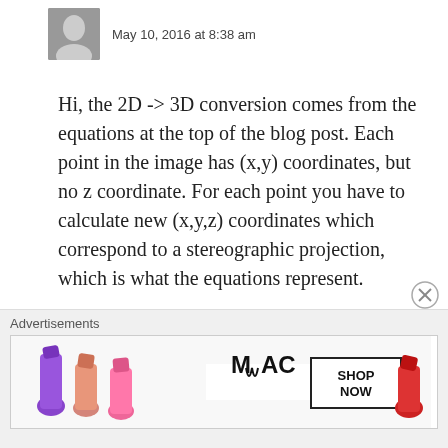May 10, 2016 at 8:38 am
Hi, the 2D -> 3D conversion comes from the equations at the top of the blog post. Each point in the image has (x,y) coordinates, but no z coordinate. For each point you have to calculate new (x,y,z) coordinates which correspond to a stereographic projection, which is what the equations represent.
★ Like
↳ Reply
Advertisements